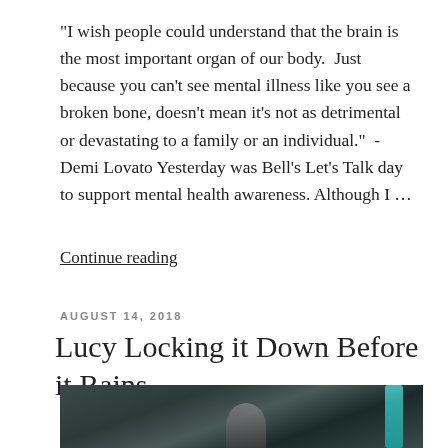"I wish people could understand that the brain is the most important organ of our body.  Just because you can't see mental illness like you see a broken bone, doesn't mean it's not as detrimental or devastating to a family or an individual."  - Demi Lovato Yesterday was Bell's Let's Talk day to support mental health awareness. Although I ...
Continue reading
AUGUST 14, 2018
Lucy Locking it Down Before it Rains
[Figure (photo): A photo showing a performer on stage with a teal/turquoise vertical light element on the right side and a dark teal/grey background.]